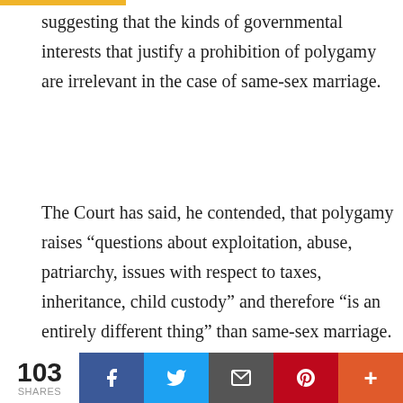suggesting that the kinds of governmental interests that justify a prohibition of polygamy are irrelevant in the case of same-sex marriage.
The Court has said, he contended, that polygamy raises “questions about exploitation, abuse, patriarchy, issues with respect to taxes, inheritance, child custody” and therefore “is an entirely different thing” than same-sex marriage. Moreover, Olson
We use cookies on our website to give you the most relevant experience by remembering your preferences and repeat visits. By clicking “Accept All”, you consent to the use of ALL the cookies. However, you may visit "Cookie Settings" to provide a controlled consent.
103 SHARES | Facebook | Twitter | Email | Pinterest | More